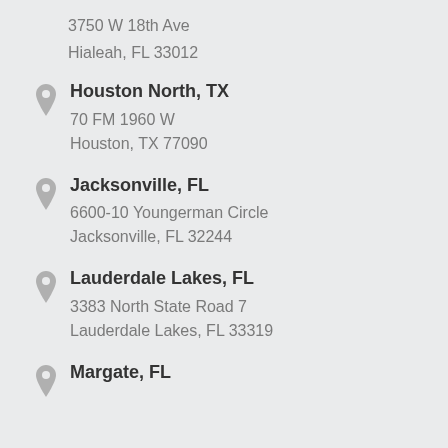3750 W 18th Ave
Hialeah, FL 33012
Houston North, TX
70 FM 1960 W
Houston, TX 77090
Jacksonville, FL
6600-10 Youngerman Circle
Jacksonville, FL 32244
Lauderdale Lakes, FL
3383 North State Road 7
Lauderdale Lakes, FL 33319
Margate, FL